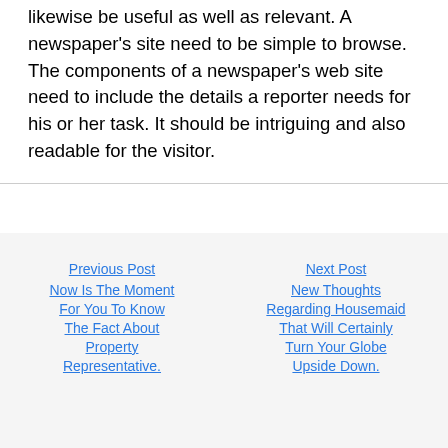likewise be useful as well as relevant. A newspaper's site need to be simple to browse. The components of a newspaper's web site need to include the details a reporter needs for his or her task. It should be intriguing and also readable for the visitor.
Previous Post
Now Is The Moment For You To Know The Fact About Property Representative.
Next Post
New Thoughts Regarding Housemaid That Will Certainly Turn Your Globe Upside Down.